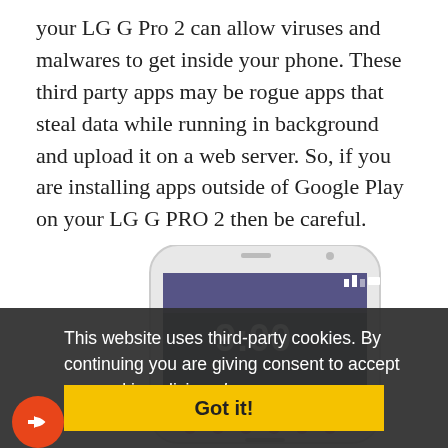your LG G Pro 2 can allow viruses and malwares to get inside your phone. These third party apps may be rogue apps that steal data while running in background and upload it on a web server. So, if you are installing apps outside of Google Play on your LG G PRO 2 then be careful.
[Figure (photo): LG G Pro 2 smartphone showing lock screen with time 9:00, with a cookie consent banner overlay showing 'This website uses third-party cookies. By continuing you are giving consent to accept our cookie policies. Learn more' and a yellow 'Got it!' button. A red share icon button is visible in the bottom left.]